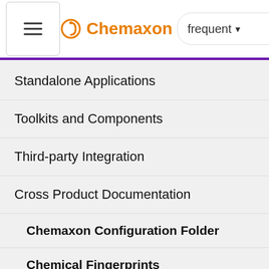Chemaxon — frequent
Standalone Applications
Toolkits and Components
Third-party Integration
Cross Product Documentation
Chemaxon Configuration Folder
Chemical Fingerprints
Chemical Terms
File Formats
Input and Output System
[dot] com. Chang reque and tests by clients and custo Chem serv the